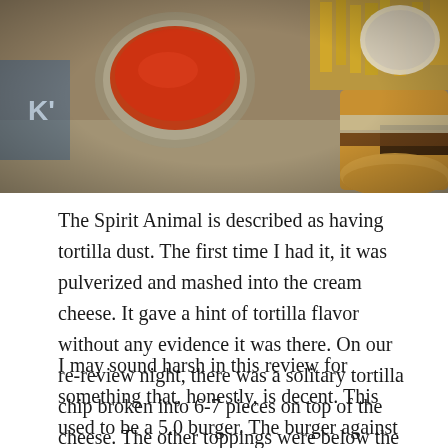[Figure (photo): A close-up food photo showing a burger with a crusty cheese-topped bun, a bowl of ketchup/dipping sauce, and french fries in the background on a paper-lined tray.]
The Spirit Animal is described as having tortilla dust. The first time I had it, it was pulverized and mashed into the cream cheese. It gave a hint of tortilla flavor without any evidence it was there. On our re-review night, there was a solitary tortilla chip broken into 6-7 pieces on top of the cheese. The other toppings were below the patty making it a pathetic mess. Below. The. Patty.
I may sound harsh in this review for something that, honestly, is decent. This used to be a 5.0 burger. The burger against which all other burgers were based. Now it is an uninspiring place that is more about flare than flavor.